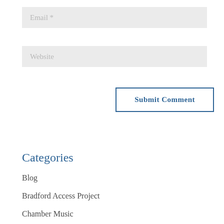Email *
Website
Submit Comment
Categories
Blog
Bradford Access Project
Chamber Music